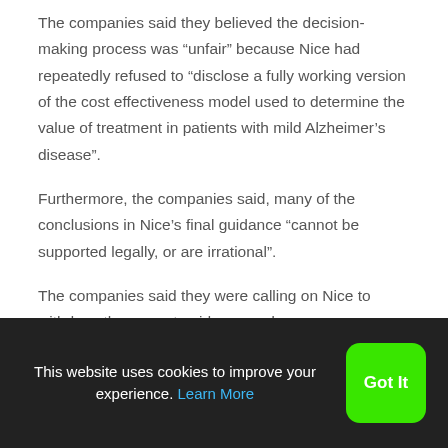The companies said they believed the decision-making process was “unfair” because Nice had repeatedly refused to “disclose a fully working version of the cost effectiveness model used to determine the value of treatment in patients with mild Alzheimer’s disease”.
Furthermore, the companies said, many of the conclusions in Nice’s final guidance “cannot be supported legally, or are irrational”.
The companies said they were calling on Nice to withdraw the current guidance and
This website uses cookies to improve your experience. Learn More